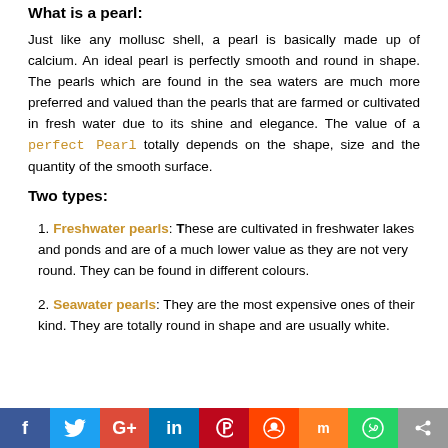What is a pearl:
Just like any mollusc shell, a pearl is basically made up of calcium. An ideal pearl is perfectly smooth and round in shape. The pearls which are found in the sea waters are much more preferred and valued than the pearls that are farmed or cultivated in fresh water due to its shine and elegance. The value of a perfect Pearl totally depends on the shape, size and the quantity of the smooth surface.
Two types:
Freshwater pearls: These are cultivated in freshwater lakes and ponds and are of a much lower value as they are not very round. They can be found in different colours.
Seawater pearls: They are the most expensive ones of their kind. They are totally round in shape and are usually white.
[Figure (infographic): Social media sharing bar with icons: Facebook, Twitter, Google+, LinkedIn, Pinterest, Reddit, Mix, WhatsApp, Share]